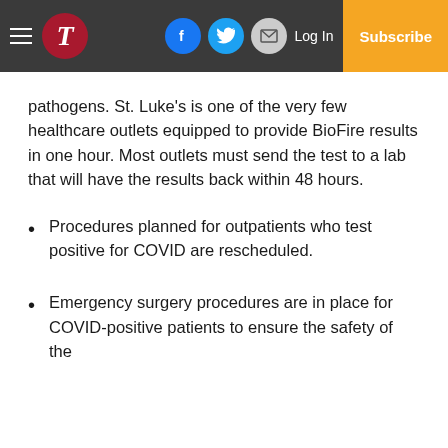T | Log In | Subscribe
pathogens. St. Luke’s is one of the very few healthcare outlets equipped to provide BioFire results in one hour. Most outlets must send the test to a lab that will have the results back within 48 hours.
Procedures planned for outpatients who test positive for COVID are rescheduled.
Emergency surgery procedures are in place for COVID-positive patients to ensure the safety of the